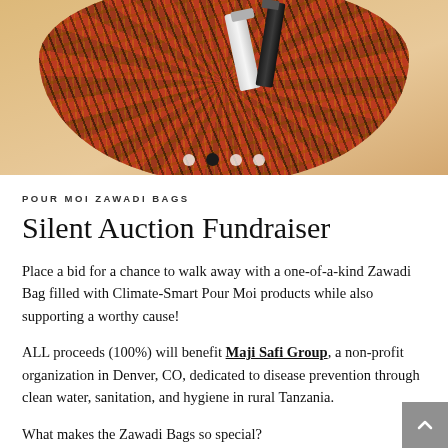[Figure (photo): Photo of a colorful African-print Zawadi bag with Pour Moi product tubes (white and dark) resting on top, against a beige background. Carousel navigation dots visible at the bottom.]
POUR MOI ZAWADI BAGS
Silent Auction Fundraiser
Place a bid for a chance to walk away with a one-of-a-kind Zawadi Bag filled with Climate-Smart Pour Moi products while also supporting a worthy cause!
ALL proceeds (100%) will benefit Maji Safi Group, a non-profit organization in Denver, CO, dedicated to disease prevention through clean water, sanitation, and hygiene in rural Tanzania.
What makes the Zawadi Bags so special?